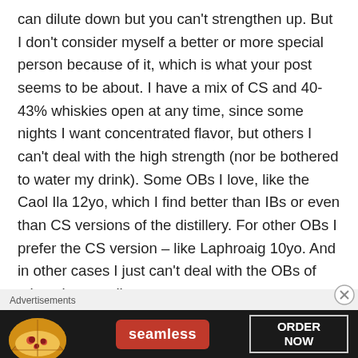can dilute down but you can't strengthen up. But I don't consider myself a better or more special person because of it, which is what your post seems to be about. I have a mix of CS and 40-43% whiskies open at any time, since some nights I want concentrated flavor, but others I can't deal with the high strength (nor be bothered to water my drink). Some OBs I love, like the Caol Ila 12yo, which I find better than IBs or even than CS versions of the distillery. For other OBs I prefer the CS version – like Laphroaig 10yo. And in other cases I just can't deal with the OBs of otherwise excellent
Advertisements
[Figure (photo): Advertisement banner for Seamless food ordering service showing pizza image on left, Seamless logo in red badge in center, and ORDER NOW button on right against dark background.]